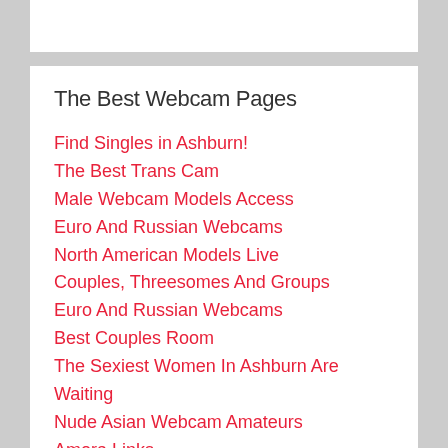The Best Webcam Pages
Find Singles in Ashburn!
The Best Trans Cam
Male Webcam Models Access
Euro And Russian Webcams
North American Models Live
Couples, Threesomes And Groups
Euro And Russian Webcams
Best Couples Room
The Sexiest Women In Ashburn Are Waiting
Nude Asian Webcam Amateurs
Amora Links
Turtle Movies